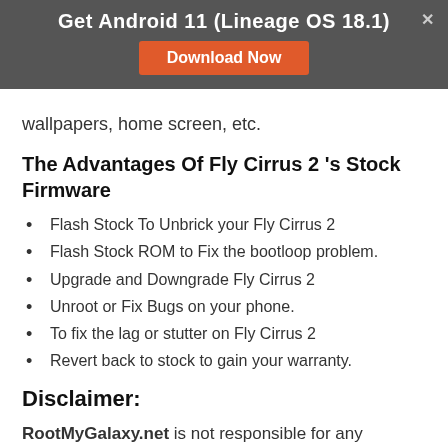Get Android 11 (Lineage OS 18.1) — Download Now
wallpapers, home screen, etc.
The Advantages Of Fly Cirrus 2 's Stock Firmware
Flash Stock To Unbrick your Fly Cirrus 2
Flash Stock ROM to Fix the bootloop problem.
Upgrade and Downgrade Fly Cirrus 2
Unroot or Fix Bugs on your phone.
To fix the lag or stutter on Fly Cirrus 2
Revert back to stock to gain your warranty.
Disclaimer:
RootMyGalaxy.net is not responsible for any damage bypassed to your device(s) while following this guide.